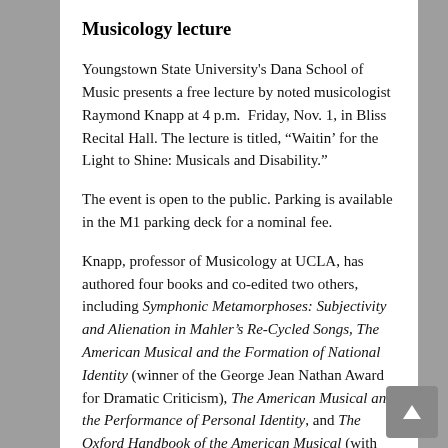Musicology lecture
Youngstown State University's Dana School of Music presents a free lecture by noted musicologist Raymond Knapp at 4 p.m.  Friday, Nov. 1, in Bliss Recital Hall. The lecture is titled, “Waitin’ for the Light to Shine: Musicals and Disability.”
The event is open to the public. Parking is available in the M1 parking deck for a nominal fee.
Knapp, professor of Musicology at UCLA, has authored four books and co-edited two others, including Symphonic Metamorphoses: Subjectivity and Alienation in Mahler’s Re-Cycled Songs, The American Musical and the Formation of National Identity (winner of the George Jean Nathan Award for Dramatic Criticism), The American Musical and the Performance of Personal Identity, and The Oxford Handbook of the American Musical (with Mitchell